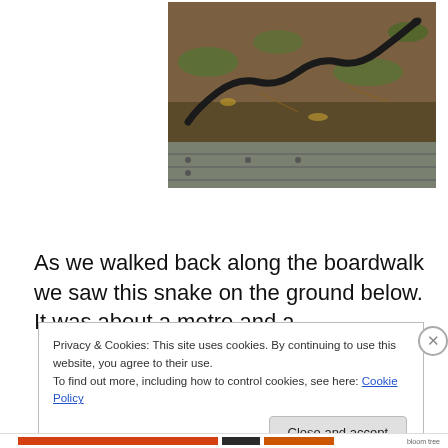[Figure (photo): A black snake lying on the ground near a wooden boardwalk, surrounded by dry leaves, twigs, and some green grass. The snake is elongated and dark-colored, stretching across the dirt and grass area above the wooden planks.]
As we walked back along the boardwalk we saw this snake on the ground below. It was about a metre and a
Privacy & Cookies: This site uses cookies. By continuing to use this website, you agree to their use.
To find out more, including how to control cookies, see here: Cookie Policy
Close and accept